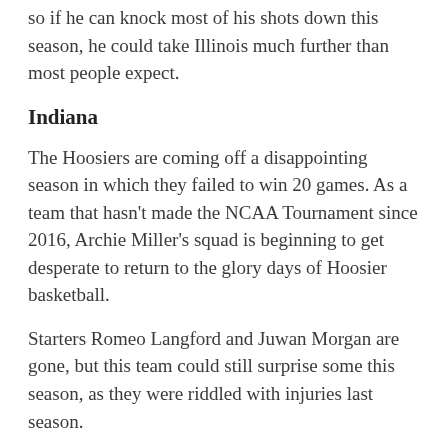so if he can knock most of his shots down this season, he could take Illinois much further than most people expect.
Indiana
The Hoosiers are coming off a disappointing season in which they failed to win 20 games. As a team that hasn't made the NCAA Tournament since 2016, Archie Miller's squad is beginning to get desperate to return to the glory days of Hoosier basketball.
Starters Romeo Langford and Juwan Morgan are gone, but this team could still surprise some this season, as they were riddled with injuries last season.
Penn State